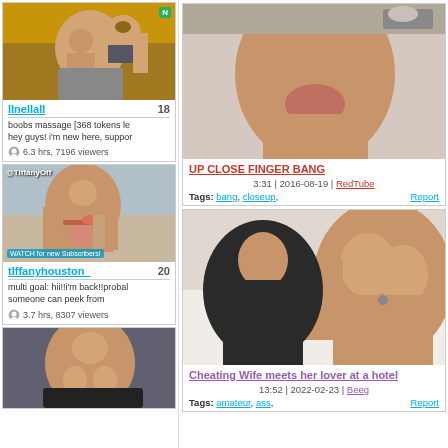[Figure (screenshot): Webcam thumbnail of blonde woman with glasses in warm-lit room]
lInellall 18
boobs massage [368 tokens le
hey guys! i'm new here, suppor
6.3 hrs, 7196 viewers
[Figure (screenshot): Webcam thumbnail of brunette woman with dildo, TiffanyOff handle shown]
tIffanyhouston_ 20
multi goal: hii!!i'm back!!probal
someone can peek from
3.7 hrs, 8307 viewers
[Figure (screenshot): Webcam thumbnail of dark-haired woman lying on bed]
[Figure (screenshot): Video thumbnail: nude close-up]
UP CLOSE FINGER BANG
3:31 | 2016-08-19 | RedTube
Tags: bang, closeup,
Report
[Figure (screenshot): Video thumbnail: woman on bed]
Cheating Wife meets her lover at a hotel
13:52 | 2022-02-23 | Beeg
Tags: amateur, ass,
Report